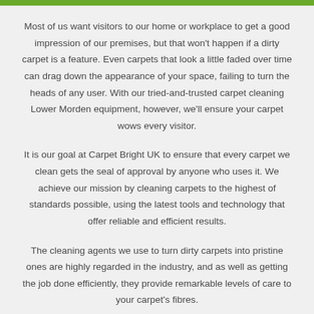Most of us want visitors to our home or workplace to get a good impression of our premises, but that won't happen if a dirty carpet is a feature. Even carpets that look a little faded over time can drag down the appearance of your space, failing to turn the heads of any user. With our tried-and-trusted carpet cleaning Lower Morden equipment, however, we'll ensure your carpet wows every visitor.
It is our goal at Carpet Bright UK to ensure that every carpet we clean gets the seal of approval by anyone who uses it. We achieve our mission by cleaning carpets to the highest of standards possible, using the latest tools and technology that offer reliable and efficient results.
The cleaning agents we use to turn dirty carpets into pristine ones are highly regarded in the industry, and as well as getting the job done efficiently, they provide remarkable levels of care to your carpet's fibres.
Whatever kind of carpet you need cleaning, and however dirty it has become, we can restore even the most...